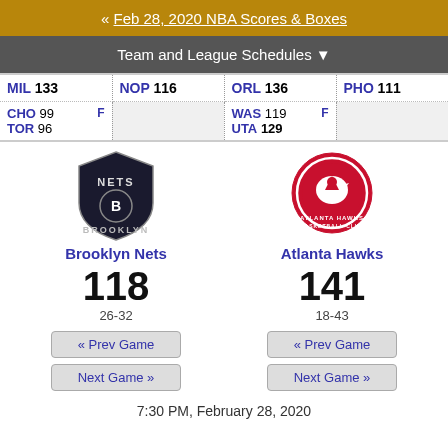« Feb 28, 2020 NBA Scores & Boxes
Team and League Schedules ▼
| MIL 133 | NOP 116 | ORL 136 | PHO 111 |
| CHO 99 F / TOR 96 |  | WAS 119 F / UTA 129 |  |
[Figure (logo): Brooklyn Nets logo]
Brooklyn Nets
118
26-32
[Figure (logo): Atlanta Hawks logo]
Atlanta Hawks
141
18-43
« Prev Game
Next Game »
« Prev Game
Next Game »
7:30 PM, February 28, 2020